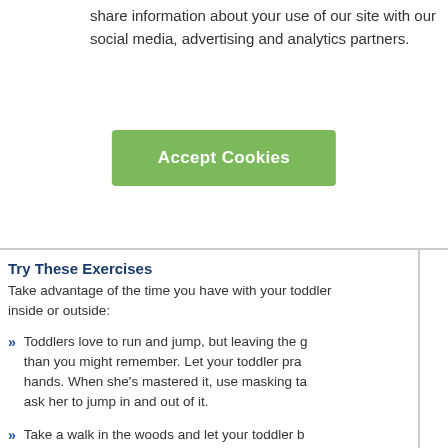share information about your use of our site with our social media, advertising and analytics partners.
Accept Cookies
Try These Exercises
Take advantage of the time you have with your toddler inside or outside:
Toddlers love to run and jump, but leaving the ground is harder than you might remember. Let your toddler practice jumping with two hands. When she's mastered it, use masking tape to make a shape and ask her to jump in and out of it.
Take a walk in the woods and let your toddler be the explorer. Help him climb rocks to be as tall as you. Or, le... Go to a playground that has steps or ladders and... huge spiral and encourage him to run to the mi...
Put a yoga mat on the floor to signal that it's time... your legs in the air, and ask your toddler to do it... starting on all fours, have her touch her nose to...
Play group games such as Follow the Leader, Duck Duck Goose. Throw a beach ball or use pinwheels t...